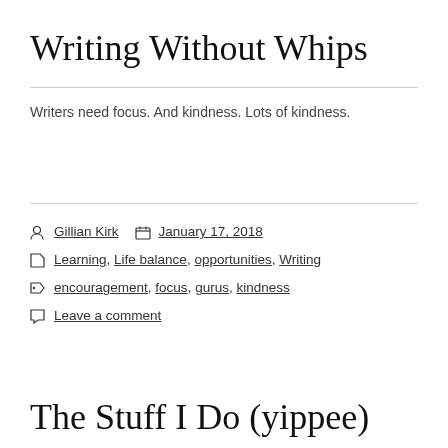Writing Without Whips
Writers need focus. And kindness. Lots of kindness.
Gillian Kirk  January 17, 2018
Learning, Life balance, opportunities, Writing
encouragement, focus, gurus, kindness
Leave a comment
The Stuff I Do (yippee)